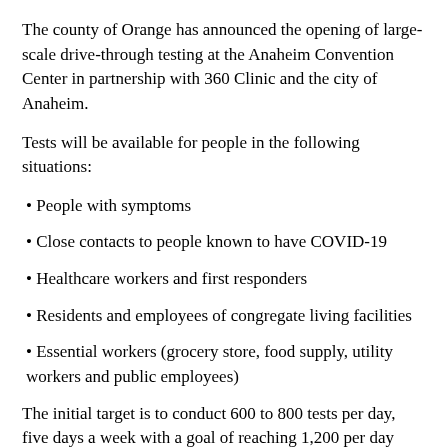The county of Orange has announced the opening of large-scale drive-through testing at the Anaheim Convention Center in partnership with 360 Clinic and the city of Anaheim.
Tests will be available for people in the following situations:
• People with symptoms
• Close contacts to people known to have COVID-19
• Healthcare workers and first responders
• Residents and employees of congregate living facilities
• Essential workers (grocery store, food supply, utility workers and public employees)
The initial target is to conduct 600 to 800 tests per day, five days a week with a goal of reaching 1,200 per day within two weeks. 360 Clinic and the convention center have the capacity to expand volume depending on public health recommendations as well as lab and supply capacities.
Orange County residents who have insurance are requested